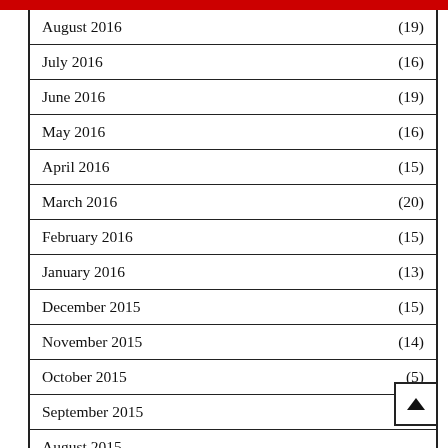August 2016 (19)
July 2016 (16)
June 2016 (19)
May 2016 (16)
April 2016 (15)
March 2016 (20)
February 2016 (15)
January 2016 (13)
December 2015 (15)
November 2015 (14)
October 2015 (5)
September 2015 (3)
August 2015